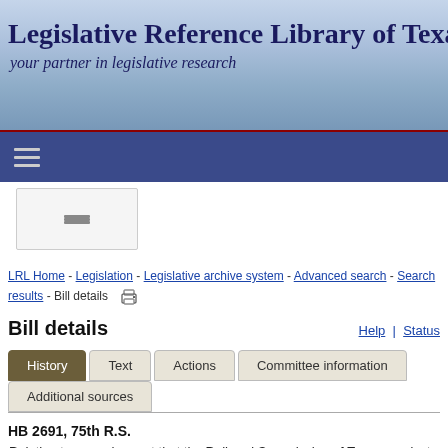Legislative Reference Library of Texas
your partner in legislative research
LRL Home - Legislation - Legislative archive system - Advanced search - Search results - Bill details
Bill details
Help | Status
History | Text | Actions | Committee information | Additional sources
HB 2691, 75th R.S.
Relating to a requirement that the Railroad Commission of Texas conduct a study of the East Texas Oil Field.
Last action: Placed on General State Calendar